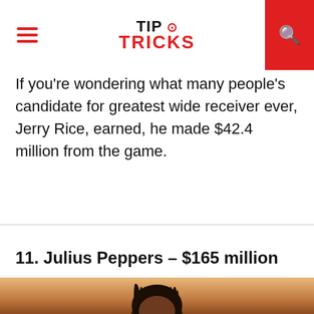TIP TRICKS
If you're wondering what many people's candidate for greatest wide receiver ever, Jerry Rice, earned, he made $42.4 million from the game.
11. Julius Peppers – $165 million
[Figure (photo): Photo of Julius Peppers, an NFL player, shown from the shoulders up with dreadlocks, against a warm blurred background.]